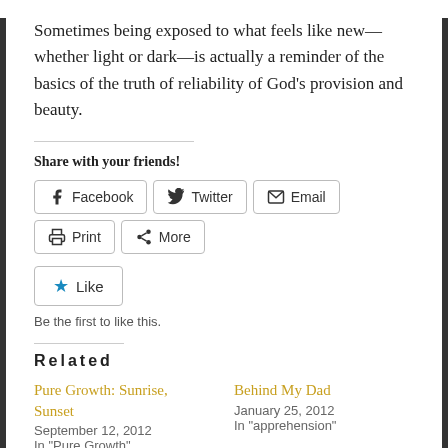Sometimes being exposed to what feels like new—whether light or dark—is actually a reminder of the basics of the truth of reliability of God's provision and beauty.
Share with your friends!
Facebook  Twitter  Email  Print  More
Like
Be the first to like this.
Related
Pure Growth: Sunrise, Sunset
September 12, 2012
In "Pure Growth"
Behind My Dad
January 25, 2012
In "apprehension"